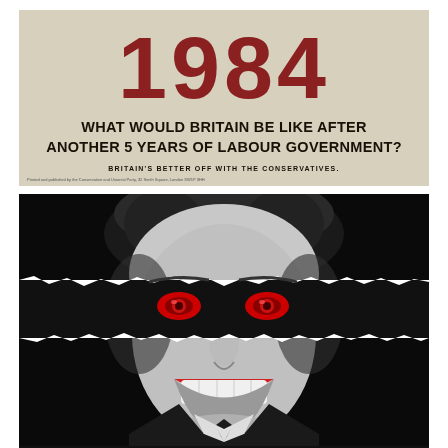[Figure (illustration): Top poster: beige/cream background with large bold red '1984' text at top, followed by dark bold text 'WHAT WOULD BRITAIN BE LIKE AFTER ANOTHER 5 YEARS OF LABOUR GOVERNMENT?', then smaller bold text 'BRITAIN'S BETTER OFF WITH THE CONSERVATIVES.' Conservative Party 1979 election poster referencing George Orwell's 1984.]
[Figure (photo): Bottom image: high-contrast black and white close-up photograph of a smiling man (Labour politician), with a torn paper effect across the eye region revealing red demonic eyes underneath, creating a sinister effect. Political attack advertisement imagery.]